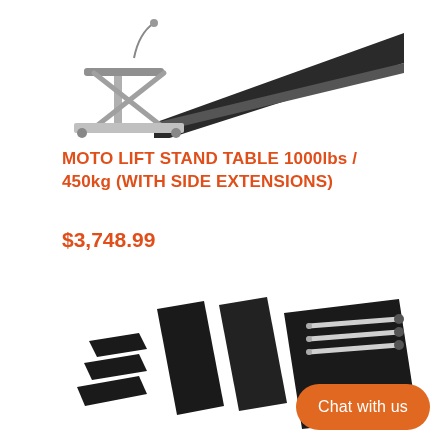[Figure (photo): Moto lift stand table product photo showing the lift mechanism with ramp and scissor jack from an angle, top portion of the page.]
MOTO LIFT STAND TABLE 1000lbs / 450kg (WITH SIDE EXTENSIONS)
$3,748.99
[Figure (photo): Product photo showing the side extension accessories — flat black steel panels and metal rods/legs laid out on a white background.]
Chat with us